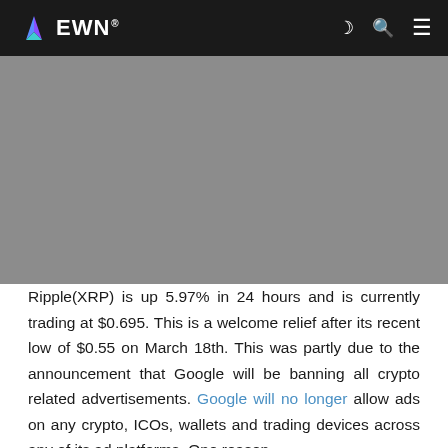EWN
[Figure (photo): Gray placeholder hero image for article about Ripple XRP]
Ripple(XRP) is up 5.97% in 24 hours and is currently trading at $0.695. This is a welcome relief after its recent low of $0.55 on March 18th. This was partly due to the announcement that Google will be banning all crypto related advertisements. Google will no longer allow ads on any crypto, ICOs, wallets and trading devices across any of its ad platforms. One reason